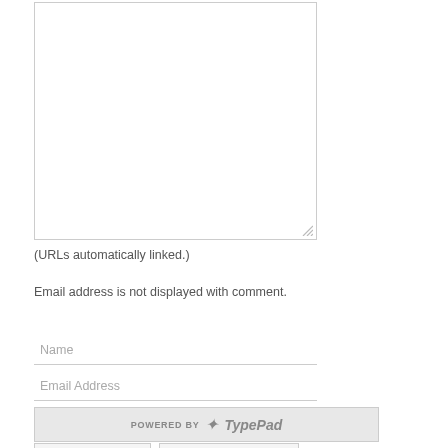[Figure (screenshot): A textarea form input box with a resize handle at the bottom-right corner, bordered in light gray.]
(URLs automatically linked.)
Email address is not displayed with comment.
[Figure (screenshot): Name text input field with placeholder text 'Name' and a bottom border.]
[Figure (screenshot): Email Address text input field with placeholder text 'Email Address' and a bottom border.]
[Figure (screenshot): Web Site URL text input field with placeholder text 'Web Site URL' and a bottom border.]
[Figure (screenshot): Two buttons labeled 'Post' and 'Preview' with light gray background and borders.]
[Figure (logo): Powered by TypePad logo badge in grayscale at the bottom left.]